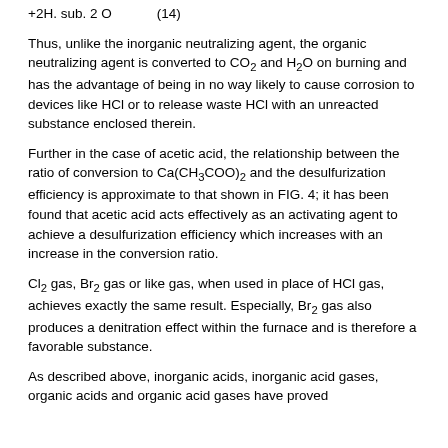Thus, unlike the inorganic neutralizing agent, the organic neutralizing agent is converted to CO2 and H2O on burning and has the advantage of being in no way likely to cause corrosion to devices like HCl or to release waste HCl with an unreacted substance enclosed therein.
Further in the case of acetic acid, the relationship between the ratio of conversion to Ca(CH3COO)2 and the desulfurization efficiency is approximate to that shown in FIG. 4; it has been found that acetic acid acts effectively as an activating agent to achieve a desulfurization efficiency which increases with an increase in the conversion ratio.
Cl2 gas, Br2 gas or like gas, when used in place of HCl gas, achieves exactly the same result. Especially, Br2 gas also produces a denitration effect within the furnace and is therefore a favorable substance.
As described above, inorganic acids, inorganic acid gases, organic acids and organic acid gases have proved effective for activating the wet-type desulfurization to...